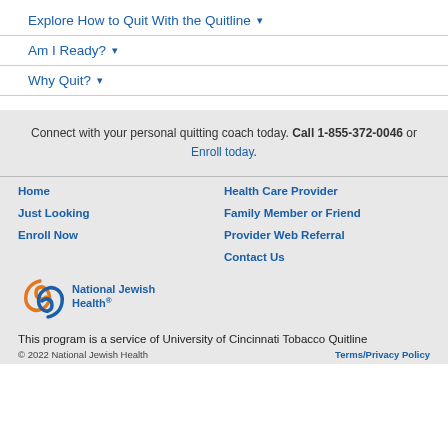Explore How to Quit With the Quitline ▾
Am I Ready? ▾
Why Quit? ▾
Connect with your personal quitting coach today. Call 1-855-372-0046 or Enroll today.
Home
Health Care Provider
Just Looking
Family Member or Friend
Enroll Now
Provider Web Referral
Contact Us
[Figure (logo): National Jewish Health logo with orange and blue swirl graphic and text]
This program is a service of University of Cincinnati Tobacco Quitline
© 2022 National Jewish Health   Terms/Privacy Policy